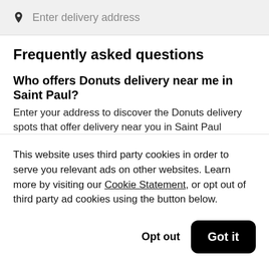Enter delivery address
Frequently asked questions
Who offers Donuts delivery near me in Saint Paul?
Enter your address to discover the Donuts delivery spots that offer delivery near you in Saint Paul
This website uses third party cookies in order to serve you relevant ads on other websites. Learn more by visiting our Cookie Statement, or opt out of third party ad cookies using the button below.
Opt out
Got it